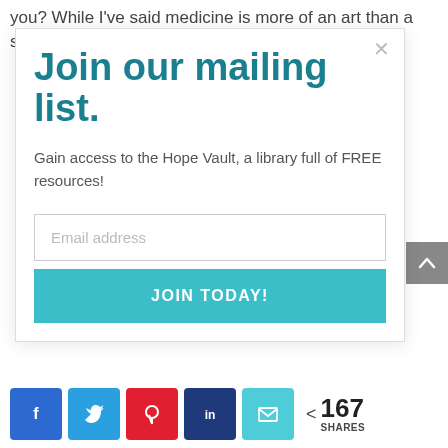you? While I've said medicine is more of an art than a science, there is still so much more we don't know
Join our mailing list.
Gain access to the Hope Vault, a library full of FREE resources!
Email address
JOIN TODAY!
< 167 SHARES